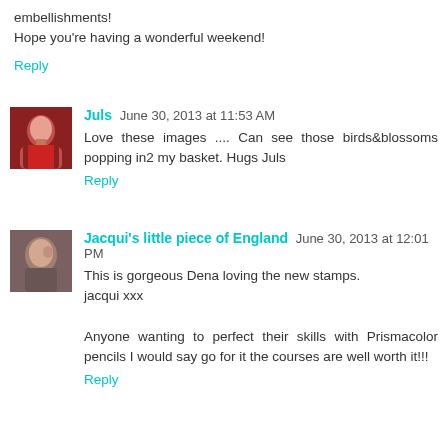embellishments!
Hope you're having a wonderful weekend!
Reply
Juls  June 30, 2013 at 11:53 AM
Love these images .... Can see those birds&blossoms popping in2 my basket. Hugs Juls
Reply
Jacqui's little piece of England  June 30, 2013 at 12:01 PM
This is gorgeous Dena loving the new stamps.
jacqui xxx
Anyone wanting to perfect their skills with Prismacolor pencils I would say go for it the courses are well worth it!!!
Reply